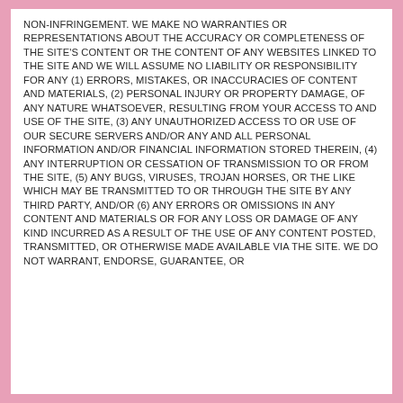NON-INFRINGEMENT. WE MAKE NO WARRANTIES OR REPRESENTATIONS ABOUT THE ACCURACY OR COMPLETENESS OF THE SITE'S CONTENT OR THE CONTENT OF ANY WEBSITES LINKED TO THE SITE AND WE WILL ASSUME NO LIABILITY OR RESPONSIBILITY FOR ANY (1) ERRORS, MISTAKES, OR INACCURACIES OF CONTENT AND MATERIALS, (2) PERSONAL INJURY OR PROPERTY DAMAGE, OF ANY NATURE WHATSOEVER, RESULTING FROM YOUR ACCESS TO AND USE OF THE SITE, (3) ANY UNAUTHORIZED ACCESS TO OR USE OF OUR SECURE SERVERS AND/OR ANY AND ALL PERSONAL INFORMATION AND/OR FINANCIAL INFORMATION STORED THEREIN, (4) ANY INTERRUPTION OR CESSATION OF TRANSMISSION TO OR FROM THE SITE, (5) ANY BUGS, VIRUSES, TROJAN HORSES, OR THE LIKE WHICH MAY BE TRANSMITTED TO OR THROUGH THE SITE BY ANY THIRD PARTY, AND/OR (6) ANY ERRORS OR OMISSIONS IN ANY CONTENT AND MATERIALS OR FOR ANY LOSS OR DAMAGE OF ANY KIND INCURRED AS A RESULT OF THE USE OF ANY CONTENT POSTED, TRANSMITTED, OR OTHERWISE MADE AVAILABLE VIA THE SITE. WE DO NOT WARRANT, ENDORSE, GUARANTEE, OR